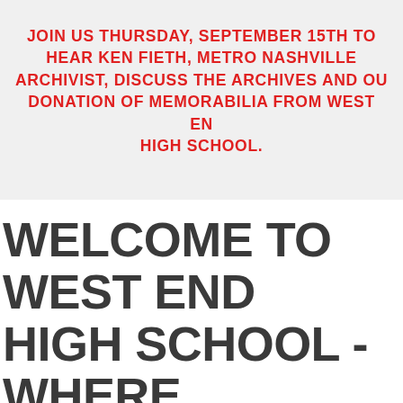JOIN US THURSDAY, SEPTEMBER 15TH TO HEAR KEN FIETH, METRO NASHVILLE ARCHIVIST, DISCUSS THE ARCHIVES AND OUR DONATION OF MEMORABILIA FROM WEST END HIGH SCHOOL.
WELCOME TO WEST END HIGH SCHOOL - WHERE THE BLUE JAYS FLEW!
If you are an alumnus of West High, you already value the wonderful education we